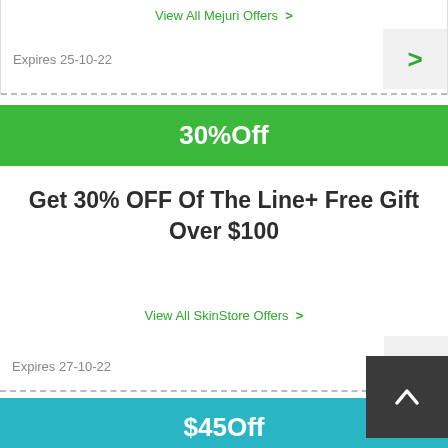View All Mejuri Offers >
Expires 25-10-22
30%Off
Get 30% OFF Of The Line+ Free Gift Over $100
View All SkinStore Offers >
Expires 27-10-22
$45Off